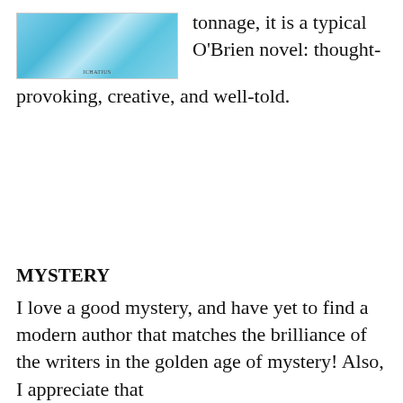[Figure (illustration): Book cover with blue/aqua watercolor or abstract design, with small text at the bottom reading 'ICHATIUS' or similar]
tonnage, it is a typical O'Brien novel: thought-provoking, creative, and well-told.
MYSTERY
I love a good mystery, and have yet to find a modern author that matches the brilliance of the writers in the golden age of mystery! Also, I appreciate that